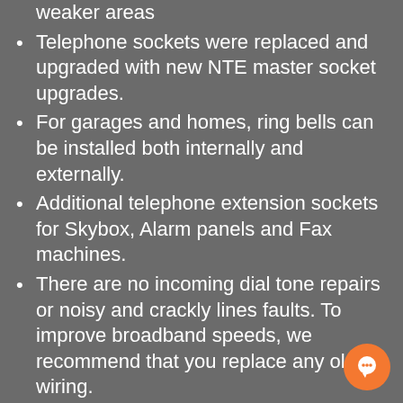to increase Wi-Fi signal strength in weaker areas
Telephone sockets were replaced and upgraded with new NTE master socket upgrades.
For garages and homes, ring bells can be installed both internally and externally.
Additional telephone extension sockets for Skybox, Alarm panels and Fax machines.
There are no incoming dial tone repairs or noisy and crackly lines faults. To improve broadband speeds, we recommend that you replace any old wiring.
You can move your telephone line to relocate doors, shutters and windows.